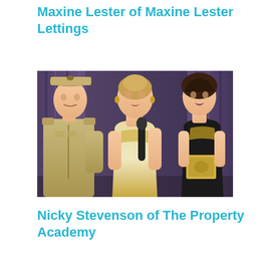Maxine Lester of Maxine Lester Lettings
[Figure (photo): A woman in a white and gold dress holding a microphone on stage, speaking to a man in a military-style khaki uniform and cap. Another woman in a black and gold outfit holding an award is visible on the right. Purple curtains in the background.]
Nicky Stevenson of The Property Academy